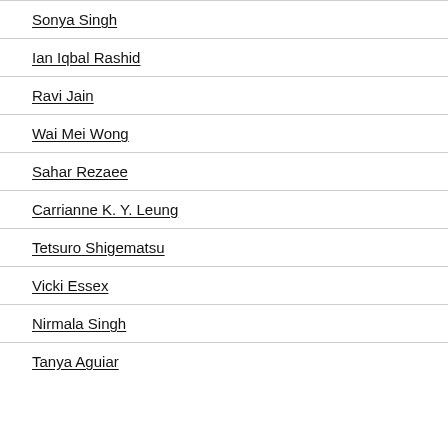Sonya Singh
Ian Iqbal Rashid
Ravi Jain
Wai Mei Wong
Sahar Rezaee
Carrianne K. Y. Leung
Tetsuro Shigematsu
Vicki Essex
Nirmala Singh
Tanya Aguiar